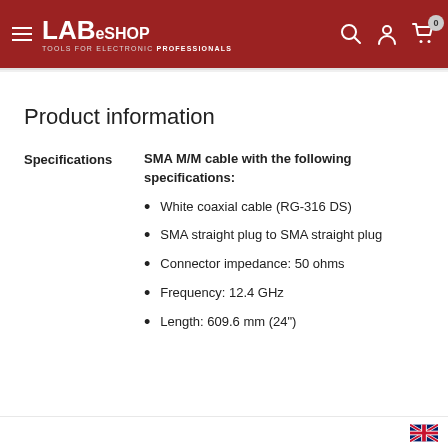LABeshop — Tools for Electronic Professionals
Product information
Specifications
SMA M/M cable with the following specifications:
White coaxial cable (RG-316 DS)
SMA straight plug to SMA straight plug
Connector impedance: 50 ohms
Frequency: 12.4 GHz
Length: 609.6 mm (24")
UK flag / language selector